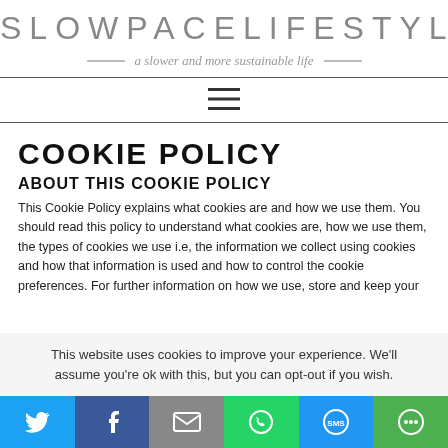SLOWPACELIFESTYLE — a slower and more sustainable life
COOKIE POLICY
ABOUT THIS COOKIE POLICY
This Cookie Policy explains what cookies are and how we use them. You should read this policy to understand what cookies are, how we use them, the types of cookies we use i.e, the information we collect using cookies and how that information is used and how to control the cookie preferences. For further information on how we use, store and keep your
This website uses cookies to improve your experience. We'll assume you're ok with this, but you can opt-out if you wish.
Social share bar: Twitter, Facebook, Email, WhatsApp, SMS, More